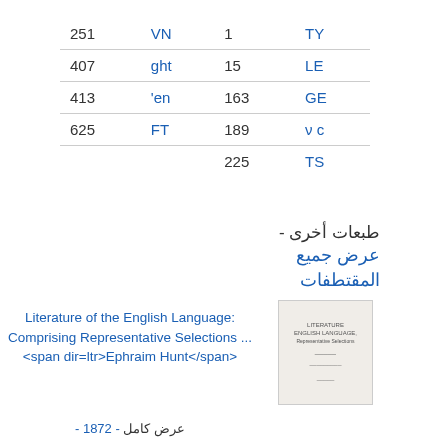|  |  |  |  |
| --- | --- | --- | --- |
| 251 | VN | 1 | TY |
| 407 | ght | 15 | LE |
| 413 | 'en | 163 | GE |
| 625 | FT | 189 | ν c |
|  |  | 225 | TS |
طبعات أخرى - عرض جميع المقتطفات
Literature of the English Language: Comprising Representative Selections ... <span dir=ltr>Ephraim Hunt</span> - 1872 - عرض كامل